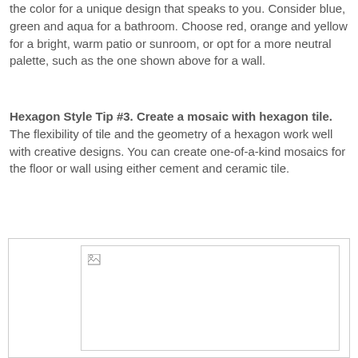the color for a unique design that speaks to you. Consider blue, green and aqua for a bathroom. Choose red, orange and yellow for a bright, warm patio or sunroom, or opt for a more neutral palette, such as the one shown above for a wall.
Hexagon Style Tip #3. Create a mosaic with hexagon tile. The flexibility of tile and the geometry of a hexagon work well with creative designs. You can create one-of-a-kind mosaics for the floor or wall using either cement and ceramic tile.
[Figure (photo): A broken image placeholder showing a small image icon in the top-left corner of a bordered rectangle]